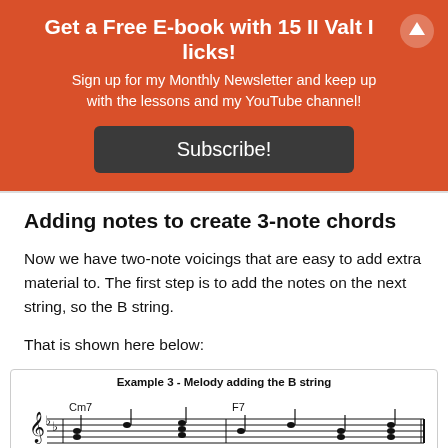Get a Free E-book with 15 II Valt I licks!
Sign up for my Monthly Newsletter and keep up with the lessons and my YouTube channel!
Subscribe!
Adding notes to create 3-note chords
Now we have two-note voicings that are easy to add extra material to. The first step is to add the notes on the next string, so the B string.
That is shown here below:
[Figure (illustration): Music notation example labeled 'Example 3 - Melody adding the B string' showing guitar chord notation with Cm7 and F7 chords on a staff with treble clef and two flats.]